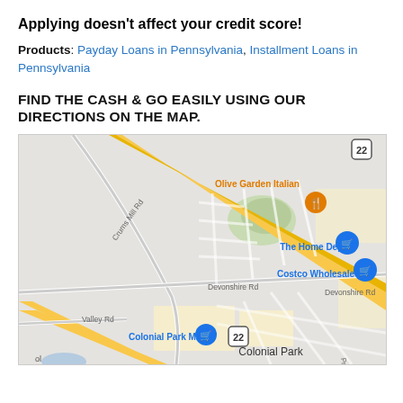Applying doesn't affect your credit score!
Products: Payday Loans in Pennsylvania, Installment Loans in Pennsylvania
FIND THE CASH & GO EASILY USING OUR DIRECTIONS ON THE MAP.
[Figure (map): Google Maps view showing Colonial Park area in Pennsylvania, with landmarks including Olive Garden Italian, The Home Depot, Costco Wholesale, Colonial Park Mall, roads including Crums Mill Rd, Devonshire Rd, Valley Rd, and route 22.]